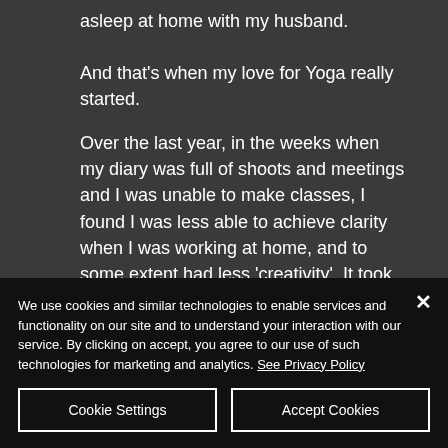asleep at home with my husband.
And that’s when my love for Yoga really started.
Over the last year, in the weeks when my diary was full of shoots and meetings and I was unable to make classes, I found I was less able to achieve clarity when I was working at home, and to some extent had less ‘creativity’. It took me a while to figure
We use cookies and similar technologies to enable services and functionality on our site and to understand your interaction with our service. By clicking on accept, you agree to our use of such technologies for marketing and analytics. See Privacy Policy
Cookie Settings
Accept Cookies